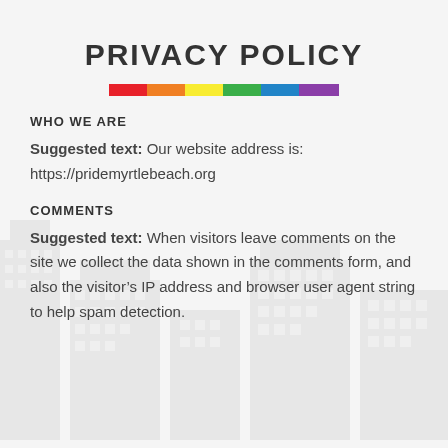PRIVACY POLICY
[Figure (illustration): Rainbow colored horizontal bar with segments: red, orange, yellow, green, blue, purple]
WHO WE ARE
Suggested text: Our website address is: https://pridemyrtlebeach.org
COMMENTS
Suggested text: When visitors leave comments on the site we collect the data shown in the comments form, and also the visitor’s IP address and browser user agent string to help spam detection.